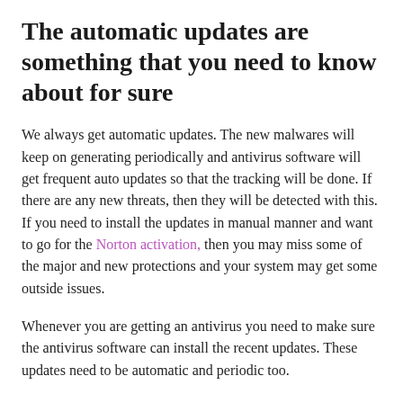The automatic updates are something that you need to know about for sure
We always get automatic updates. The new malwares will keep on generating periodically and antivirus software will get frequent auto updates so that the tracking will be done. If there are any new threats, then they will be detected with this. If you need to install the updates in manual manner and want to go for the Norton activation, then you may miss some of the major and new protections and your system may get some outside issues.
Whenever you are getting an antivirus you need to make sure the antivirus software can install the recent updates. These updates need to be automatic and periodic too.
The multi apps protection
The computer threat come when the whole range of the apps and